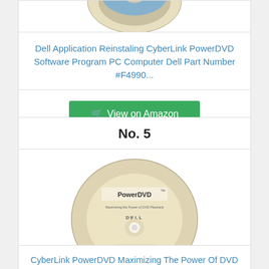[Figure (photo): Partial view of a Dell software CD at the top of page]
Dell Application Reinstaling CyberLink PowerDVD Software Program PC Computer Dell Part Number #F4990...
View on Amazon
No. 5
[Figure (photo): CyberLink PowerDVD Dell PC software disc with gold/beige label showing PowerDVD branding and CyberLink logo]
CyberLink PowerDVD Maximizing The Power Of DVD PlayBack Dell PC Computer Program